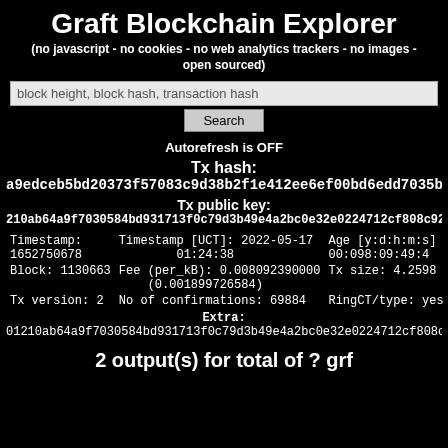Graft Blockchain Explorer
(no javascript - no cookies - no web analytics trackers - no images - open sourced)
block height, block hash, transaction hash
Search
Autorefresh is OFF
Tx hash:
a9edceb5bd20373f57083c9d38b2f1e412ee6ef00bd6edd7035b912c...
Tx public key:
210ab64a9f7030584bd931713f0c79d3b49e4a2bc0e32e0224712cf808c9289d
| Col1 | Col2 | Col3 |
| --- | --- | --- |
| Timestamp:
1652750678 | Timestamp [UCT]: 2022-05-17
01:24:38 | Age [y:d:h:m:s]
00:098:09:49:4... |
| Block: 1130663 | Fee (per_kB): 0.008092390000
(0.001899726584) | Tx size: 4.2598 |
| Tx version: 2 | No of confirmations: 69884 | RingCT/type: yes... |
Extra:
01210ab64a9f7030584bd931713f0c79d3b49e4a2bc0e32e0224712cf808c9...
2 output(s) for total of ? grf